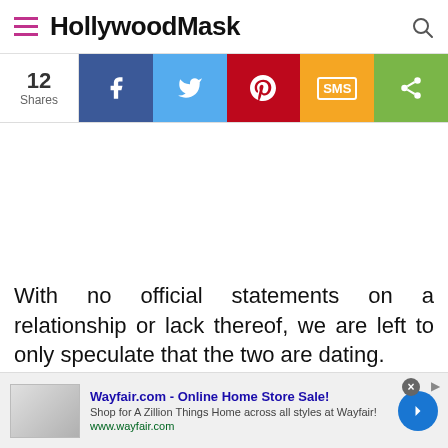HollywoodMask
[Figure (infographic): Social share bar with 12 Shares count, Facebook, Twitter, Pinterest, SMS, and general share buttons]
With no official statements on a relationship or lack thereof, we are left to only speculate that the two are dating.
[Figure (screenshot): Wayfair.com advertisement - Online Home Store Sale! Shop for A Zillion Things Home across all styles at Wayfair! www.wayfair.com]